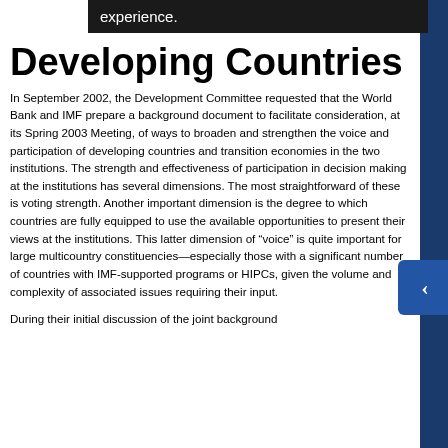Developing Countries
In September 2002, the Development Committee requested that the World Bank and IMF prepare a background document to facilitate consideration, at its Spring 2003 Meeting, of ways to broaden and strengthen the voice and participation of developing countries and transition economies in the two institutions. The strength and effectiveness of participation in decision making at the institutions has several dimensions. The most straightforward of these is voting strength. Another important dimension is the degree to which countries are fully equipped to use the available opportunities to present their views at the institutions. This latter dimension of “voice” is quite important for large multicountry constituencies—especially those with a significant number of countries with IMF-supported programs or HIPCs, given the volume and complexity of associated issues requiring their input.
During their initial discussion of the joint background